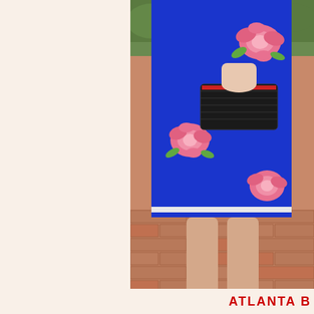[Figure (photo): Photo of a woman from torso down wearing a bright royal blue dress with pink floral embroidery, holding a black woven clutch bag, wearing black pumps, standing on a brick pathway with green hedge in the background.]
ATLANTA B